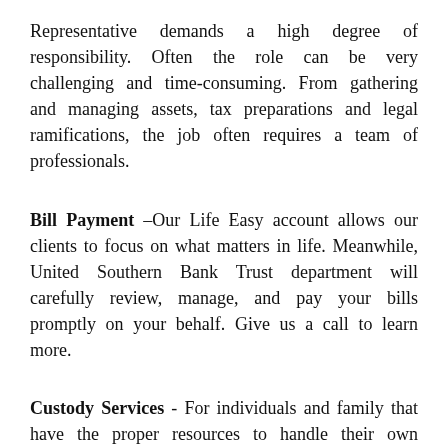Representative demands a high degree of responsibility. Often the role can be very challenging and time-consuming. From gathering and managing assets, tax preparations and legal ramifications, the job often requires a team of professionals.
Bill Payment –Our Life Easy account allows our clients to focus on what matters in life. Meanwhile, United Southern Bank Trust department will carefully review, manage, and pay your bills promptly on your behalf. Give us a call to learn more.
Custody Services - For individuals and family that have the proper resources to handle their own financial affairs, or fiduciaries that are handling their family or clients trusts and estates, our Custodial